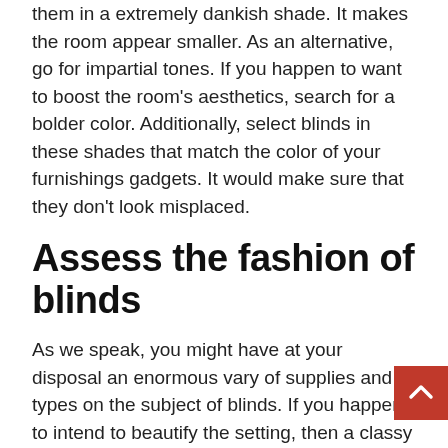them in a extremely dankish shade. It makes the room appear smaller. As an alternative, go for impartial tones. If you happen to want to boost the room's aesthetics, search for a bolder color. Additionally, select blinds in these shades that match the color of your furnishings gadgets. It would make sure that they don't look misplaced.
Assess the fashion of blinds
As we speak, you might have at your disposal an enormous vary of supplies and types on the subject of blinds. If you happen to intend to beautify the setting, then a classy and common form of blind is right. Then again, plain curler blinds will likely be apt for areas just like the washroom. It's sensible to seek the advice of the shop employees from the place you buy the blinds in regards to the form of fashion that matches your décor. You're positive to get some precious solutions from the consultants there.